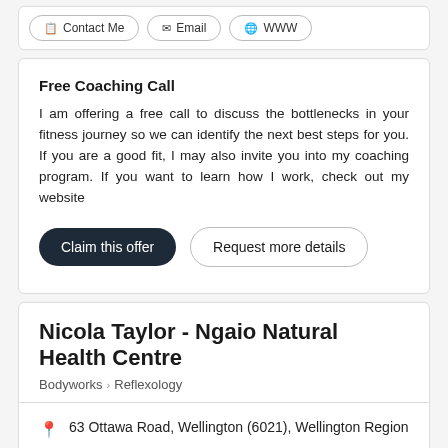[Figure (screenshot): Top navigation bar with Contact Me, Email, and WWW buttons]
Free Coaching Call
I am offering a free call to discuss the bottlenecks in your fitness journey so we can identify the next best steps for you. If you are a good fit, I may also invite you into my coaching program. If you want to learn how I work, check out my website
Claim this offer | Request more details
Nicola Taylor - Ngaio Natural Health Centre
Bodyworks > Reflexology
63 Ottawa Road, Wellington (6021), Wellington Region
5-10 km from Wellington Central (6011)